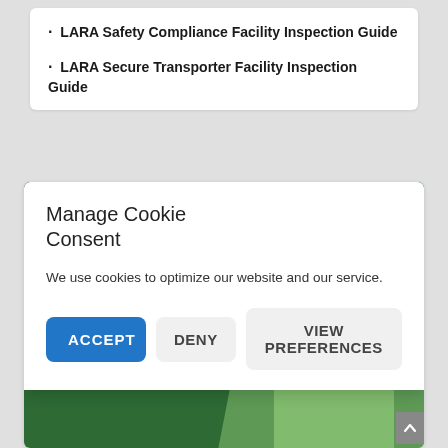• LARA Safety Compliance Facility Inspection Guide
• LARA Secure Transporter Facility Inspection Guide
Manage Cookie Consent
We use cookies to optimize our website and our service.
ACCEPT | DENY | VIEW PREFERENCES
CONTACT US TODAY